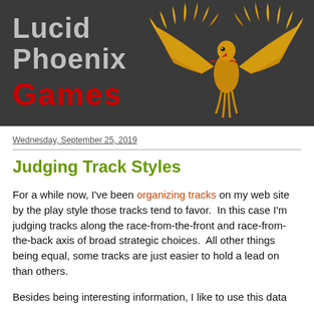[Figure (logo): Lucid Phoenix Games logo banner with dark background, white/grey text 'Lucid Phoenix' and red 'Games', and a golden phoenix bird with spread wings on the right side.]
Wednesday, September 25, 2019
Judging Track Styles
For a while now, I've been organizing tracks on my web site by the play style those tracks tend to favor.  In this case I'm judging tracks along the race-from-the-front and race-from-the-back axis of broad strategic choices.  All other things being equal, some tracks are just easier to hold a lead on than others.
Besides being interesting information, I like to use this data to...